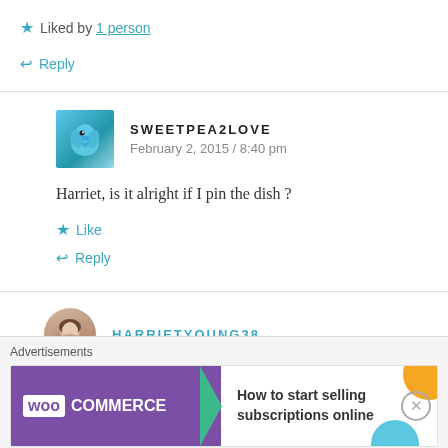Liked by 1 person
Reply
SWEETPEA2LOVE
February 2, 2015 / 8:40 pm
Harriet, is it alright if I pin the dish ?
Like
Reply
HARRIETYOUNG38
Advertisements
How to start selling subscriptions online